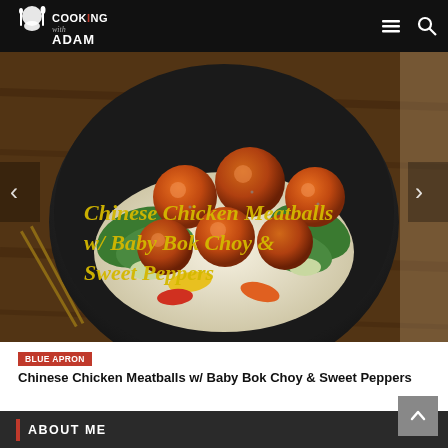Cooking with Adam
[Figure (photo): Photo of Chinese Chicken Meatballs with Baby Bok Choy and Sweet Peppers in a dark bowl with rice, overlaid with italic yellow title text]
BLUE APRON
Chinese Chicken Meatballs w/ Baby Bok Choy & Sweet Peppers
ABOUT ME